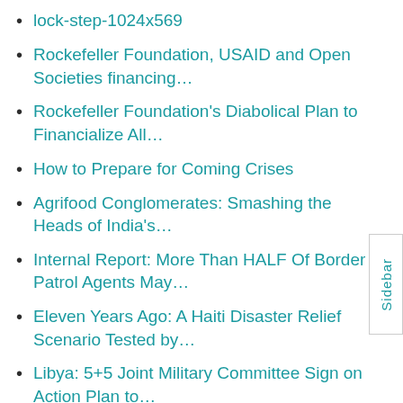lock-step-1024x569
Rockefeller Foundation, USAID and Open Societies financing…
Rockefeller Foundation's Diabolical Plan to Financialize All…
How to Prepare for Coming Crises
Agrifood Conglomerates: Smashing the Heads of India's…
Internal Report: More Than HALF Of Border Patrol Agents May…
Eleven Years Ago: A Haiti Disaster Relief Scenario Tested by…
Libya: 5+5 Joint Military Committee Sign on Action Plan to…
Victoria, Australia will 'LOCK OUT' unvaccinated people from…
Forced Vaccination and the Road to 'Digital…